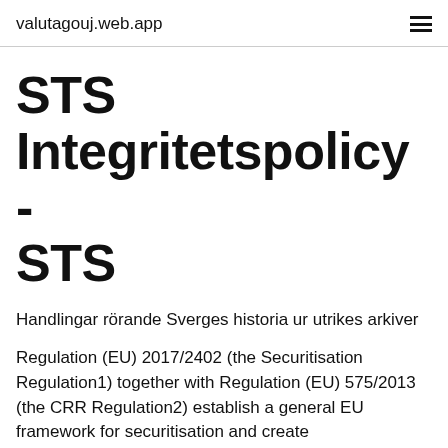valutagouj.web.app
STS Integritetspolicy - STS
Handlingar rörande Sverges historia ur utrikes arkiver
Regulation (EU) 2017/2402 (the Securitisation Regulation1) together with Regulation (EU) 575/2013 (the CRR Regulation2) establish a general EU framework for securitisation and create